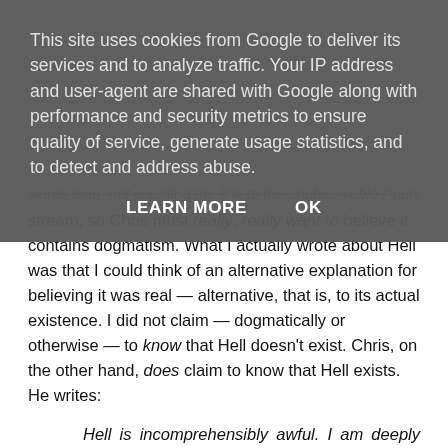This site uses cookies from Google to deliver its services and to analyze traffic. Your IP address and user-agent are shared with Google along with performance and security metrics to ensure quality of service, generate usage statistics, and to detect and address abuse.
LEARN MORE   OK
words long, not counting the link to the unobservable Padre stream, so Chris must really, really want to believe it contains dogmatism. What I actually wrote about Hell was that I could think of an alternative explanation for believing it was real — alternative, that is, to its actual existence. I did not claim — dogmatically or otherwise — to know that Hell doesn't exist. Chris, on the other hand, does claim to know that Hell exists. He writes:
Hell is incomprehensibly awful. I am deeply troubled by the thought of people going there, but they will, and they do. However, it is the wicked who go to hell, and they deserve the punishment they receive there.